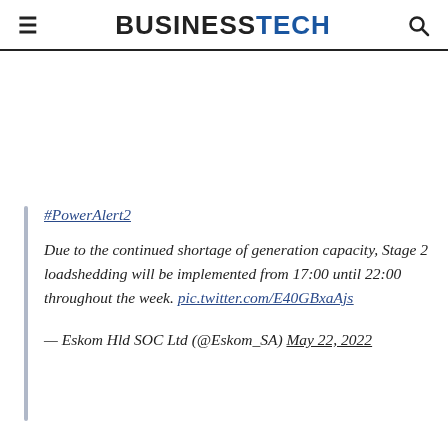≡  BUSINESSTECH  🔍
#PowerAlert2

Due to the continued shortage of generation capacity, Stage 2 loadshedding will be implemented from 17:00 until 22:00 throughout the week. pic.twitter.com/E40GBxaAjs

— Eskom Hld SOC Ltd (@Eskom_SA) May 22, 2022